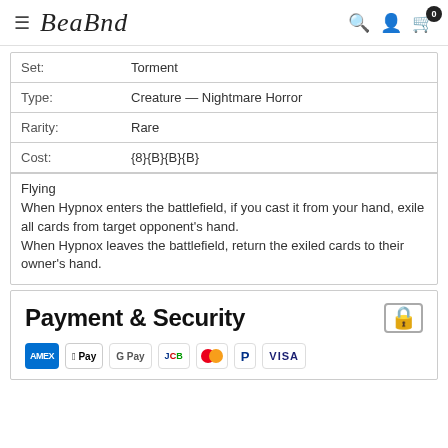BeaBnd
| Set: | Torment |
| Type: | Creature — Nightmare Horror |
| Rarity: | Rare |
| Cost: | {8}{B}{B}{B} |
Flying
When Hypnox enters the battlefield, if you cast it from your hand, exile all cards from target opponent's hand.
When Hypnox leaves the battlefield, return the exiled cards to their owner's hand.
Payment & Security
[Figure (logo): Payment method logos: Amex, Apple Pay, Google Pay, JCB, Mastercard, PayPal, Visa]